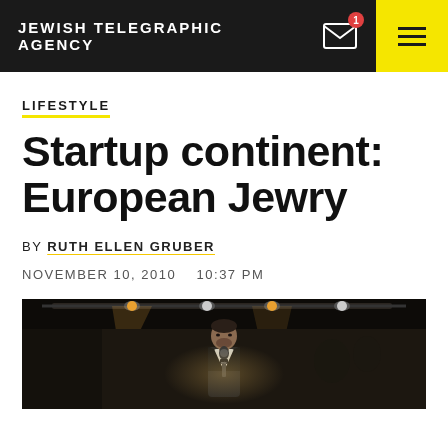JEWISH TELEGRAPHIC AGENCY
LIFESTYLE
Startup continent: European Jewry
BY RUTH ELLEN GRUBER
NOVEMBER 10, 2010   10:37 PM
[Figure (photo): A man speaking at a microphone on a dimly lit stage with stage lights visible overhead, wearing a suit jacket.]